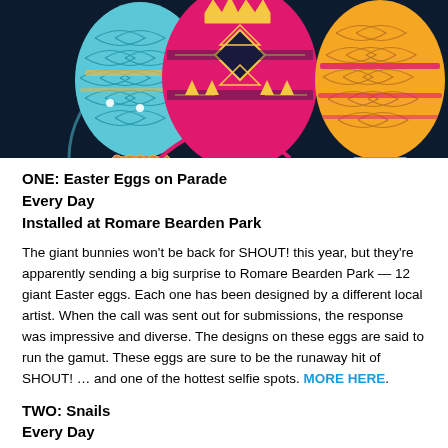[Figure (illustration): Decorative illustration of three large ornate Easter eggs styled like Fabergé eggs on a dark navy background. The left egg is light blue with gold filigree patterns, the center egg is magenta/pink with geometric designs including triangles and diamonds with a crown motif, and the right egg is orange/yellow with scale-like patterns. The eggs sit on decorative stands.]
ONE: Easter Eggs on Parade
Every Day
Installed at Romare Bearden Park
The giant bunnies won't be back for SHOUT! this year, but they're apparently sending a big surprise to Romare Bearden Park — 12 giant Easter eggs. Each one has been designed by a different local artist. When the call was sent out for submissions, the response was impressive and diverse. The designs on these eggs are said to run the gamut. These eggs are sure to be the runaway hit of SHOUT! … and one of the hottest selfie spots. MORE HERE.
TWO: Snails
Every Day
Installed at Romare Bearden Park